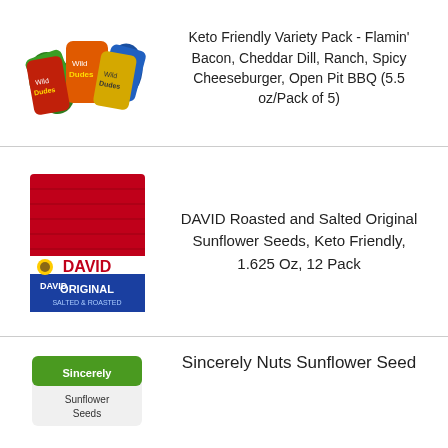[Figure (photo): Multiple colorful snack packs (Wild Dudes) fanned out showing various flavors]
Keto Friendly Variety Pack - Flamin' Bacon, Cheddar Dill, Ranch, Spicy Cheeseburger, Open Pit BBQ (5.5 oz/Pack of 5)
[Figure (photo): DAVID Original Roasted and Salted Sunflower Seeds box, red and blue packaging]
DAVID Roasted and Salted Original Sunflower Seeds, Keto Friendly, 1.625 Oz, 12 Pack
[Figure (photo): Sincerely Nuts Sunflower Seed product image (partially visible)]
Sincerely Nuts Sunflower Seed